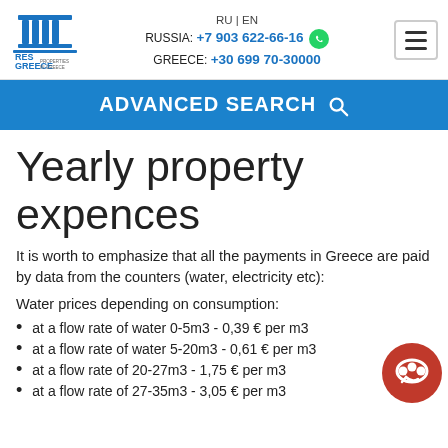RU | EN  RUSSIA: +7 903 622-66-16  GREECE: +30 699 70-30000
ADVANCED SEARCH
Yearly property expences
It is worth to emphasize that all the payments in Greece are paid by data from the counters (water, electricity etc):
Water prices depending on consumption:
at a flow rate of water 0-5m3 - 0,39 € per m3
at a flow rate of water 5-20m3 - 0,61 € per m3
at a flow rate of 20-27m3 - 1,75 € per m3
at a flow rate of 27-35m3 - 3,05 € per m3